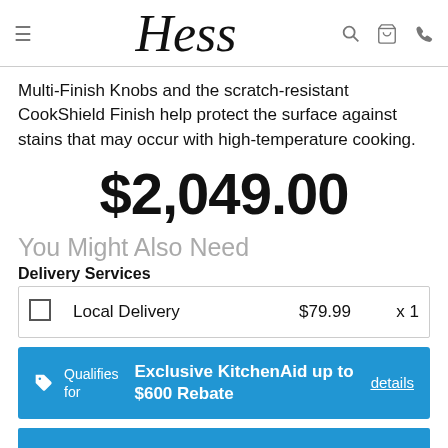Hess
Multi-Finish Knobs and the scratch-resistant CookShield Finish help protect the surface against stains that may occur with high-temperature cooking.
$2,049.00
You Might Also Need
Delivery Services
|  | Item | Price | Qty |
| --- | --- | --- | --- |
| ☐ | Local Delivery | $79.99 | x 1 |
Qualifies for Exclusive KitchenAid up to $600 Rebate details